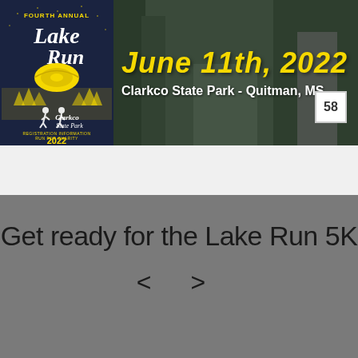[Figure (logo): Fourth Annual Lake Run logo with disc golf and Clarkco State Park 2022 text on dark navy background with yellow graphic]
[Figure (photo): Banner with dark forest/park background showing a runner with bib number 58, with yellow text 'June 11th, 2022' and white text 'Clarkco State Park - Quitman, MS']
Get ready for the Lake Run 5K
< >